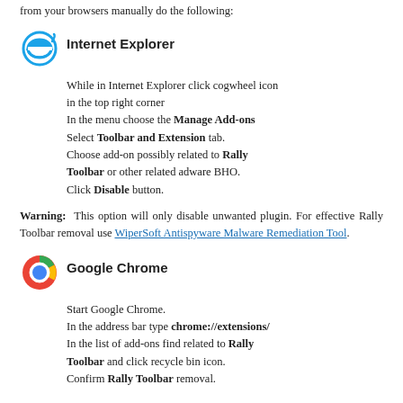from your browsers manually do the following:
Internet Explorer
While in Internet Explorer click cogwheel icon in the top right corner
In the menu choose the Manage Add-ons
Select Toolbar and Extension tab.
Choose add-on possibly related to Rally Toolbar or other related adware BHO.
Click Disable button.
Warning: This option will only disable unwanted plugin. For effective Rally Toolbar removal use WiperSoft Antispyware Malware Remediation Tool.
Google Chrome
Start Google Chrome.
In the address bar type chrome://extensions/
In the list of add-ons find related to Rally Toolbar and click recycle bin icon.
Confirm Rally Toolbar removal.